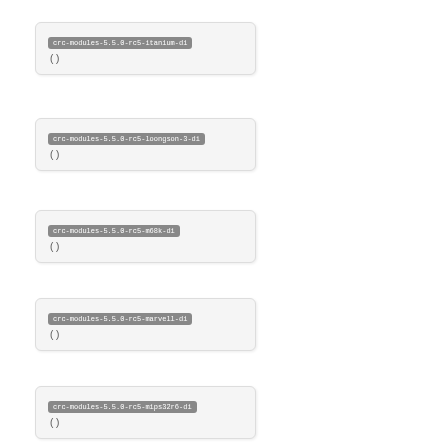crc-modules-5.5.0-rc5-itanium-di
( )
crc-modules-5.5.0-rc5-loongson-3-di
( )
crc-modules-5.5.0-rc5-m68k-di
( )
crc-modules-5.5.0-rc5-marvell-di
( )
crc-modules-5.5.0-rc5-mips32r6-di
( )